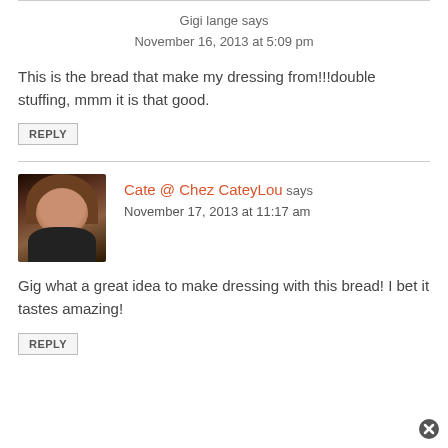Gigi lange says
November 16, 2013 at 5:09 pm
This is the bread that make my dressing from!!!double stuffing, mmm it is that good.
REPLY
Cate @ Chez CateyLou says
November 17, 2013 at 11:17 am
Gig what a great idea to make dressing with this bread! I bet it tastes amazing!
REPLY